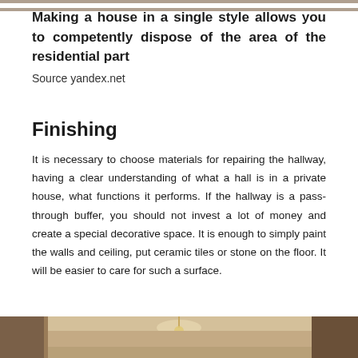[Figure (photo): Top strip of a house interior photo (partially cropped at top)]
Making a house in a single style allows you to competently dispose of the area of the residential part
Source yandex.net
Finishing
It is necessary to choose materials for repairing the hallway, having a clear understanding of what a hall is in a private house, what functions it performs. If the hallway is a pass-through buffer, you should not invest a lot of money and create a special decorative space. It is enough to simply paint the walls and ceiling, put ceramic tiles or stone on the floor. It will be easier to care for such a surface.
[Figure (photo): Interior hallway photo showing a chandelier and warm-toned decor (partially cropped at bottom)]